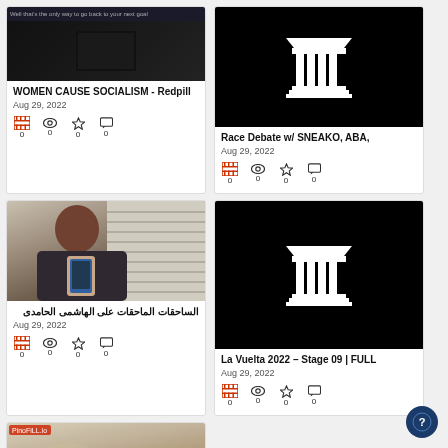[Figure (screenshot): Video thumbnail with dark top bar and gradient below for 'WOMEN CAUSE SOCIALISM - Redpill' video card]
WOMEN CAUSE SOCIALISM - Redpill
Aug 29, 2022
[Figure (screenshot): Black background with white Greek temple/pillars icon for 'Race Debate w/ SNEAKO, ABA,' video]
Race Debate w/ SNEAKO, ABA,
Aug 29, 2022
[Figure (photo): Photo of a man holding a phone with thumb up]
الساحقات الماحقات على الهاشمى الحامدى
Aug 29, 2022
[Figure (screenshot): Black background with white Greek temple/pillars icon for 'La Vuelta 2022 – Stage 09 | FULL' video]
La Vuelta 2022 – Stage 09 | FULL
Aug 29, 2022
[Figure (photo): Video thumbnail showing nature/outdoor scene, fourth card bottom left]